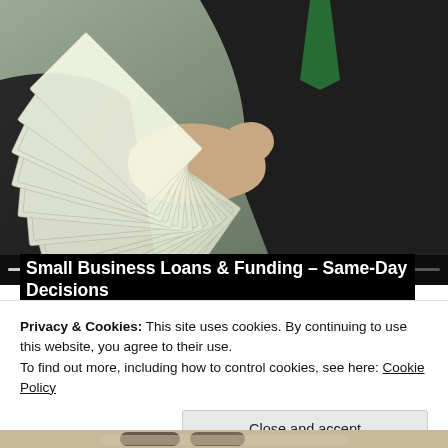[Figure (photo): A person in a business suit holding out a large fan of $100 US dollar bills, with media player controls visible at the bottom (progress bar, play/pause, skip buttons). The image is a video thumbnail for a small business loans and funding topic.]
Small Business Loans & Funding – Same-Day Decisions
Privacy & Cookies: This site uses cookies. By continuing to use this website, you agree to their use.
To find out more, including how to control cookies, see here: Cookie Policy
Close and accept
[Figure (photo): Bottom portion of another image, appearing to show a sofa or lounge furniture with decorative items.]